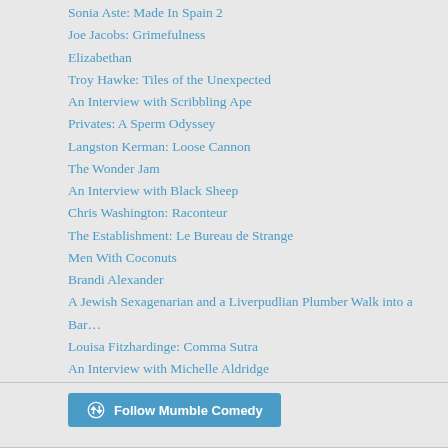Sonia Aste: Made In Spain 2
Joe Jacobs: Grimefulness
Elizabethan
Troy Hawke: Tiles of the Unexpected
An Interview with Scribbling Ape
Privates: A Sperm Odyssey
Langston Kerman: Loose Cannon
The Wonder Jam
An Interview with Black Sheep
Chris Washington: Raconteur
The Establishment: Le Bureau de Strange
Men With Coconuts
Brandi Alexander
A Jewish Sexagenarian and a Liverpudlian Plumber Walk into a Bar…
Louisa Fitzhardinge: Comma Sutra
An Interview with Michelle Aldridge
Follow Mumble Comedy